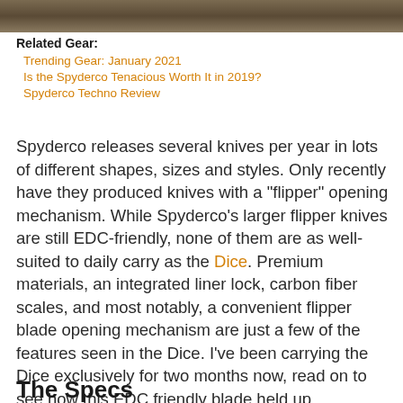[Figure (photo): Top image strip showing outdoor/nature scene, cropped]
Related Gear:
Trending Gear: January 2021
Is the Spyderco Tenacious Worth It in 2019?
Spyderco Techno Review
Spyderco releases several knives per year in lots of different shapes, sizes and styles. Only recently have they produced knives with a "flipper" opening mechanism. While Spyderco's larger flipper knives are still EDC-friendly, none of them are as well-suited to daily carry as the Dice. Premium materials, an integrated liner lock, carbon fiber scales, and most notably, a convenient flipper blade opening mechanism are just a few of the features seen in the Dice. I've been carrying the Dice exclusively for two months now, read on to see how this EDC friendly blade held up.
The Specs